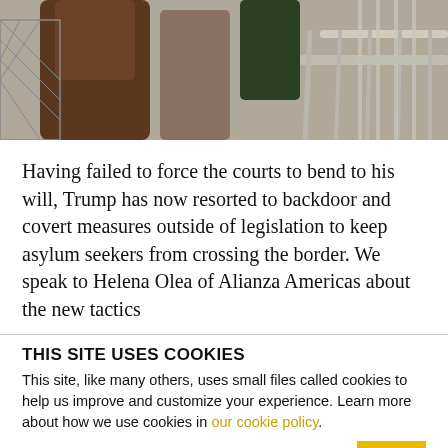[Figure (photo): Photo of people walking on a bridge with chain-link fence and metal railing visible, outdoor setting]
Having failed to force the courts to bend to his will, Trump has now resorted to backdoor and covert measures outside of legislation to keep asylum seekers from crossing the border. We speak to Helena Olea of Alianza Americas about the new tactics
THIS SITE USES COOKIES
This site, like many others, uses small files called cookies to help us improve and customize your experience. Learn more about how we use cookies in our cookie policy.
Learn more about cookies  OK